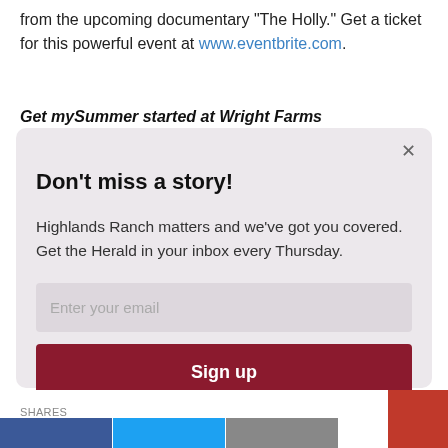from the upcoming documentary “The Holly.” Get a ticket for this powerful event at www.eventbrite.com.
Get mySummer started at Wright Farms
[Figure (screenshot): Modal popup with newsletter signup for Highlands Ranch Herald. Contains title 'Don't miss a story!', body text 'Highlands Ranch matters and we’ve got you covered. Get the Herald in your inbox every Thursday.', an email input field, and a dark red 'Sign up' button. Has an X close button in the top right.]
SHARES